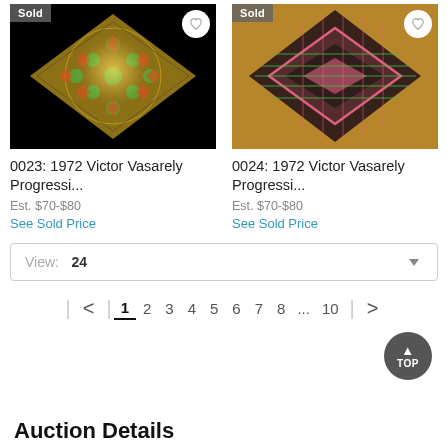[Figure (photo): Auction listing for item 0023: 1972 Victor Vasarely Progressi... with Sold badge, heart icon, and op-art geometric image on black background]
0023: 1972 Victor Vasarely Progressi...
Est. $70-$80
See Sold Price
[Figure (photo): Auction listing for item 0024: 1972 Victor Vasarely Progressi... with Sold badge, heart icon, and op-art geometric image on gold/tan background]
0024: 1972 Victor Vasarely Progressi...
Est. $70-$80
See Sold Price
View:  24
< | 1 2 3 4 5 6 7 8 ... 10 | >
TOP
Auction Details